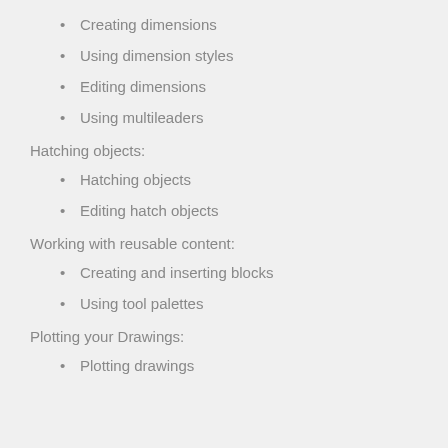Creating dimensions
Using dimension styles
Editing dimensions
Using multileaders
Hatching objects:
Hatching objects
Editing hatch objects
Working with reusable content:
Creating and inserting blocks
Using tool palettes
Plotting your Drawings:
Plotting drawings